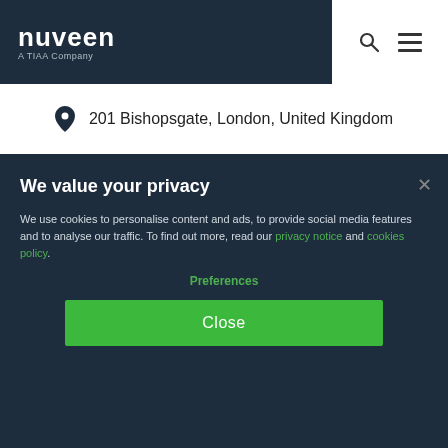[Figure (logo): Nuveen logo — white bold text 'nuveen' with subtitle 'A TIAA Company' on dark navy background]
201 Bishopsgate, London, United Kingdom
We value your privacy
We use cookies to personalise content and ads, to provide social media features and to analyse our traffic. To find out more, read our privacy notice and cookies policy.
Preferences
Close